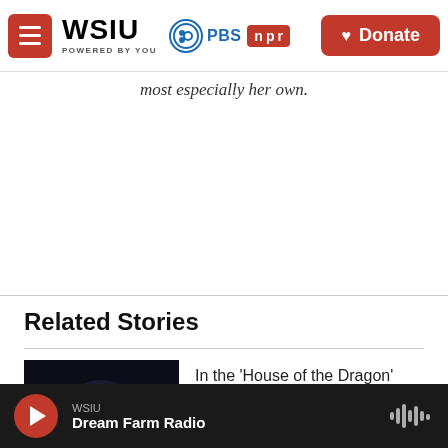WSIU POWERED BY YOU | PBS | npr | Donate
most especially her own.
Related Stories
[Figure (photo): Dark thumbnail image for House of the Dragon story]
In the 'House of the Dragon' series premiere, the blood of the
WSIU | Dream Farm Radio